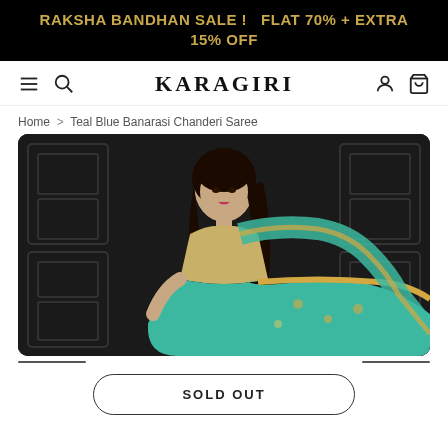RAKSHA BANDHAN SALE !   FLAT 70% + EXTRA 15% OFF
[Figure (screenshot): Karagiri e-commerce website navigation bar with hamburger menu, search icon, KARAGIRI logo, user account icon, and shopping cart icon]
Home > Teal Blue Banarasi Chanderi Saree
[Figure (photo): Woman wearing a teal blue Banarasi Chanderi saree with golden border, seated against a dark ornate door background]
SOLD OUT